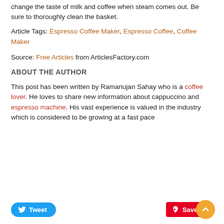change the taste of milk and coffee when steam comes out. Be sure to thoroughly clean the basket.
Article Tags: Espresso Coffee Maker, Espresso Coffee, Coffee Maker
Source: Free Articles from ArticlesFactory.com
ABOUT THE AUTHOR
This post has been written by Ramanujan Sahay who is a coffee lover. He loves to share new information about cappuccino and espresso machine. His vast experience is valued in the industry which is considered to be growing at a fast pace